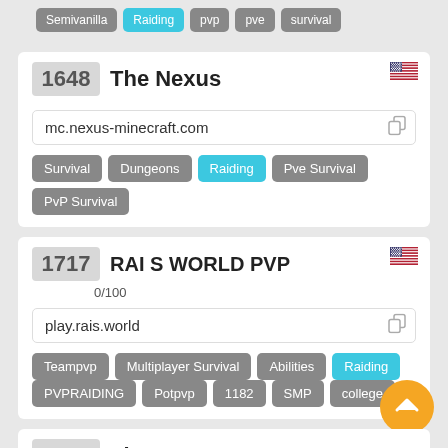Semivanilla | Raiding | pvp | pve | survival
1648 The Nexus
mc.nexus-minecraft.com
Survival | Dungeons | Raiding | Pve Survival | PvP Survival
1717 RAI S WORLD PVP
0/100
play.rais.world
Teampvp | Multiplayer Survival | Abilities | Raiding | PVPRAIDING | Potpvp | 1182 | SMP | college
1770 The Outpost